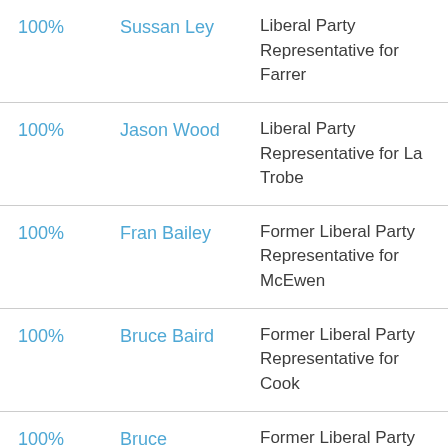|  | Name | Role |
| --- | --- | --- |
| 100% | Sussan Ley | Liberal Party Representative for Farrer |
| 100% | Jason Wood | Liberal Party Representative for La Trobe |
| 100% | Fran Bailey | Former Liberal Party Representative for McEwen |
| 100% | Bruce Baird | Former Liberal Party Representative for Cook |
| 100% | Bruce | Former Liberal Party |